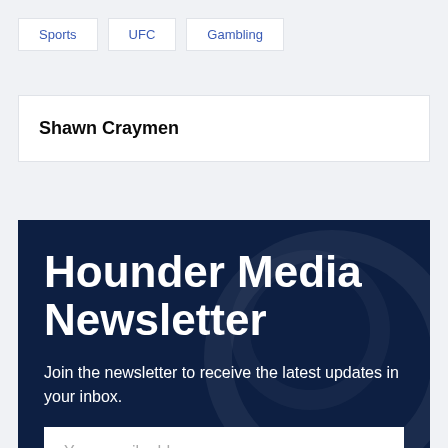Sports
UFC
Gambling
Shawn Craymen
Hounder Media Newsletter
Join the newsletter to receive the latest updates in your inbox.
Your email address